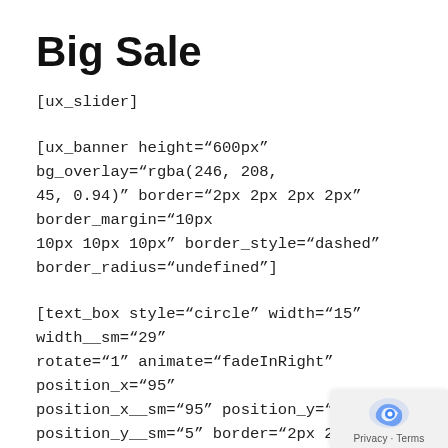Big Sale
[ux_slider]
[ux_banner height="600px" bg_overlay="rgba(246, 208, 45, 0.94)" border="2px 2px 2px 2px" border_margin="10px 10px 10px 10px" border_style="dashed" border_radius="undefined"]
[text_box style="circle" width="15" width__sm="29" rotate="1" animate="fadeInRight" position_x="95" position_x__sm="95" position_y="5" position_y__sm="5" border="2px 2px 2px 2px" border_margin="5px 5px 5px 5px" border_style="dashed" border_radius="100" border_color="rgba(255, 255, 0.19)"]